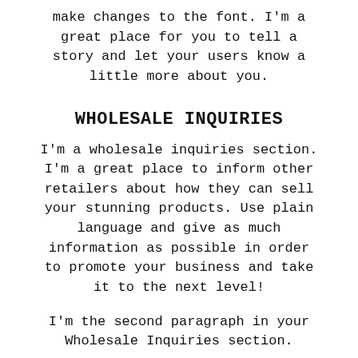make changes to the font. I'm a great place for you to tell a story and let your users know a little more about you.
WHOLESALE INQUIRIES
I'm a wholesale inquiries section. I'm a great place to inform other retailers about how they can sell your stunning products. Use plain language and give as much information as possible in order to promote your business and take it to the next level!
I'm the second paragraph in your Wholesale Inquiries section.